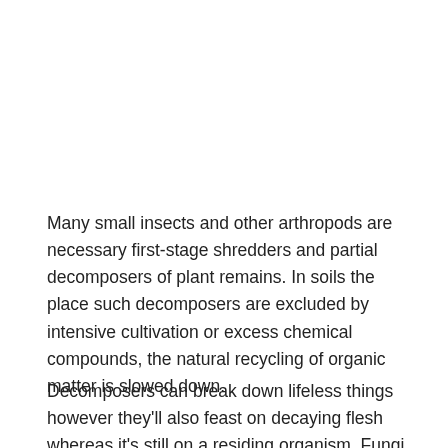Many small insects and other arthropods are necessary first-stage shredders and partial decomposers of plant remains. In soils the place such decomposers are excluded by intensive cultivation or excess chemical compounds, the natural recycling of organic matter is slowed down.
Decomposers can break down lifeless things however they'll also feast on decaying flesh whereas it's still on a residing organism. Fungi are